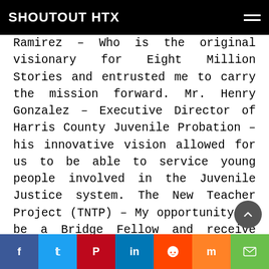SHOUTOUT HTX
Ramirez – Who is the original visionary for Eight Million Stories and entrusted me to carry the mission forward. Mr. Henry Gonzalez – Executive Director of Harris County Juvenile Probation – his innovative vision allowed for us to be able to service young people involved in the Juvenile Justice system. The New Teacher Project (TNTP) – My opportunity to be a Bridge Fellow and receive early stage funding to support the development of the Eight Million Stories program was a game-changer. Education Leaders of Color (EdLoC) – their support both financially and giving me access to resources gave us the funding support that we needed to build out the Eight Million Stories program.
f  t  P  in  reddit  mix  email